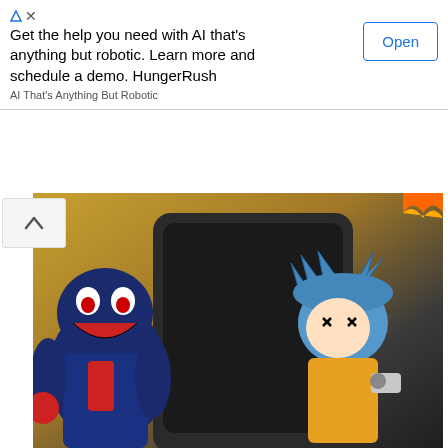Get the help you need with AI that's anything but robotic. Learn more and schedule a demo. HungerRush
AI That's Anything But Robotic
[Figure (screenshot): Screenshot of FNF vs Sonic.exe 2 Minus Hottler game showing two animated characters: a dark blue monster character on the left and a blue-haired character on the right, against a golden/dark background.]
FNF vs Sonic.exe 2 Minus Hottler
FNF Sonic.exe 2 Minus Hottler unblocked is an updated version of FNF Sonic Exe 2. You can meet familiar characters from the previous version in a new unique shape.
Those who love the Sonic mod version cannot miss this game, one of the best mods of FNF full week online. Different from the previous normal version, this